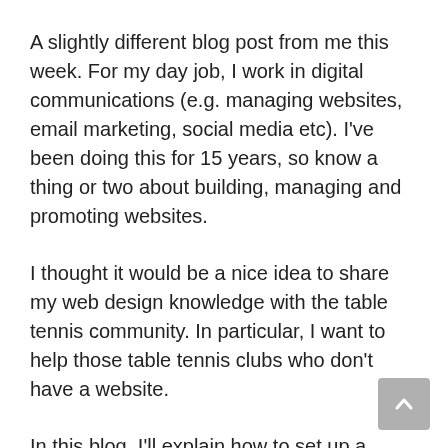A slightly different blog post from me this week. For my day job, I work in digital communications (e.g. managing websites, email marketing, social media etc). I've been doing this for 15 years, so know a thing or two about building, managing and promoting websites.
I thought it would be a nice idea to share my web design knowledge with the table tennis community. In particular, I want to help those table tennis clubs who don't have a website.
In this blog, I'll explain how to set up a website for your club, what content you need and how to promote your website.